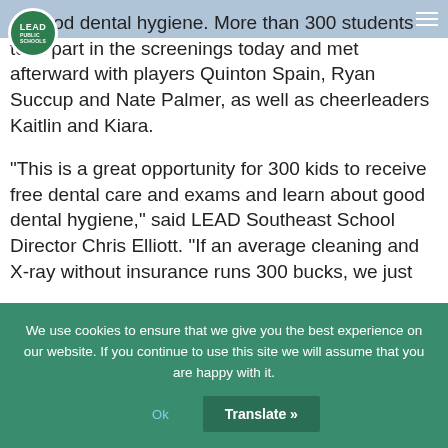LEAD Public Schools
or good dental hygiene. More than 300 students took part in the screenings today and met afterward with players Quinton Spain, Ryan Succup and Nate Palmer, as well as cheerleaders Kaitlin and Kiara.

"This is a great opportunity for 300 kids to receive free dental care and exams and learn about good dental hygiene," said LEAD Southeast School Director Chris Elliott. "If an average cleaning and X-ray without insurance runs 300 bucks, we just saved $90,000 for our families. It is important for students understand good dental care, you only have one set of teeth
We use cookies to ensure that we give you the best experience on our website. If you continue to use this site we will assume that you are happy with it.